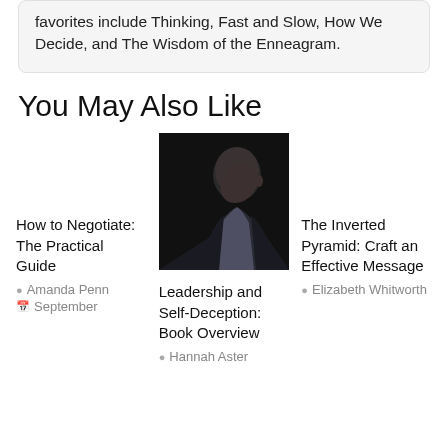favorites include Thinking, Fast and Slow, How We Decide, and The Wisdom of the Enneagram.
You May Also Like
[Figure (photo): Dark portrait photo of a man in profile view against black background]
How to Negotiate: The Practical Guide
Amanda Penn
September
Leadership and Self-Deception: Book Overview
Hannah Aster
The Inverted Pyramid: Craft an Effective Message
Elizabeth Whitworth